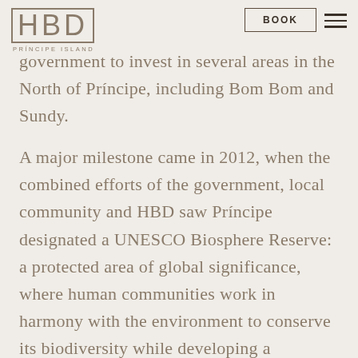HBD PRÍNCIPE ISLAND | BOOK
government to invest in several areas in the North of Príncipe, including Bom Bom and Sundy.
A major milestone came in 2012, when the combined efforts of the government, local community and HBD saw Príncipe designated a UNESCO Biosphere Reserve: a protected area of global significance, where human communities work in harmony with the environment to conserve its biodiversity while developing a sustainable economy.